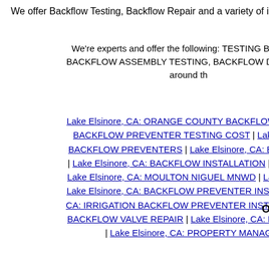We offer Backflow Testing, Backflow Repair and a variety of ir...
We're experts and offer the following: TESTING BACKFLO... BACKFLOW ASSEMBLY TESTING, BACKFLOW DEVICE RI... around th...
Lake Elsinore, CA: ORANGE COUNTY BACKFLOW TESTIN... | BACKFLOW PREVENTER TESTING COST | Lake Elsino... BACKFLOW PREVENTERS | Lake Elsinore, CA: BACKFLO... | Lake Elsinore, CA: BACKFLOW INSTALLATION | Lake Elsi... Lake Elsinore, CA: MOULTON NIGUEL MNWD | Lake Elsino... Lake Elsinore, CA: BACKFLOW PREVENTER INSTALLATIO... CA: IRRIGATION BACKFLOW PREVENTER INSTALLATION... BACKFLOW VALVE REPAIR | Lake Elsinore, CA: BACKFLO... | Lake Elsinore, CA: PROPERTY MANAG...
Orange County Backf...
[Figure (logo): Facebook logo icon (blue circle with white f)]
[Figure (logo): YouTube logo icon (red rectangle with You Tube text)]
[Figure (other): Blue social media icon box]
Internet Marketing A...